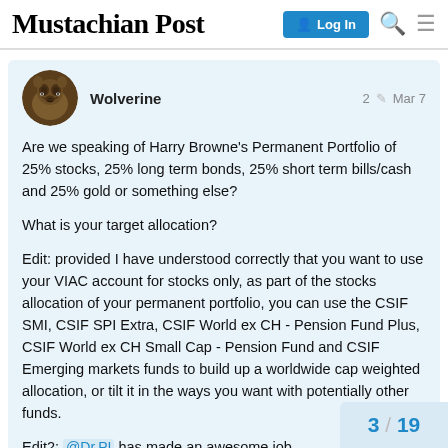Mustachian Post
Wolverine  2  Mar 7
Are we speaking of Harry Browne's Permanent Portfolio of 25% stocks, 25% long term bonds, 25% short term bills/cash and 25% gold or something else?

What is your target allocation?

Edit: provided I have understood correctly that you want to use your VIAC account for stocks only, as part of the stocks allocation of your permanent portfolio, you can use the CSIF SMI, CSIF SPI Extra, CSIF World ex CH - Pension Fund Plus, CSIF World ex CH Small Cap - Pension Fund and CSIF Emerging markets funds to build up a worldwide cap weighted allocation, or tilt it in the ways you want with potentially other funds.

Edit2: @Dr.PI has made an awesome job
3 / 19